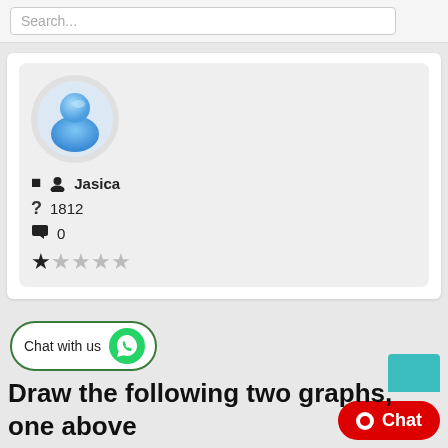Search...
[Figure (illustration): User profile card with blue avatar icon, username Jasica, question count 1812, comment count 0, and 1-star rating (1 filled, 4 empty stars)]
Jasica
1812
0
[Figure (other): Chat with us button with WhatsApp green icon]
Draw the following two graphs, one above
86. Draw the following two graphs, one above the other: In